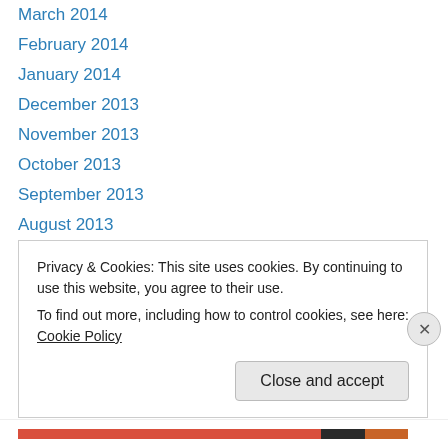March 2014
February 2014
January 2014
December 2013
November 2013
October 2013
September 2013
August 2013
June 2013
April 2013
March 2013
February 2013
January 2013
Privacy & Cookies: This site uses cookies. By continuing to use this website, you agree to their use. To find out more, including how to control cookies, see here: Cookie Policy